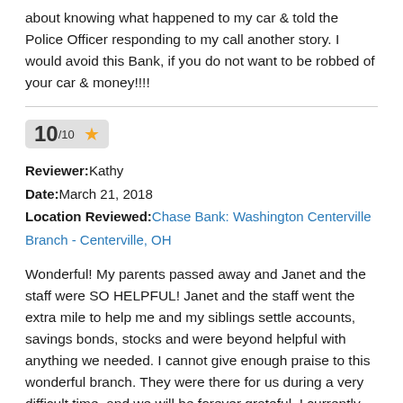about knowing what happened to my car & told the Police Officer responding to my call another story. I would avoid this Bank, if you do not want to be robbed of your car & money!!!!
10/10 ★
Reviewer: Kathy
Date: March 21, 2018
Location Reviewed: Chase Bank: Washington Centerville Branch - Centerville, OH
Wonderful! My parents passed away and Janet and the staff were SO HELPFUL! Janet and the staff went the extra mile to help me and my siblings settle accounts, savings bonds, stocks and were beyond helpful with anything we needed. I cannot give enough praise to this wonderful branch. They were there for us during a very difficult time, and we will be forever grateful. I currently live out of state, and my local bank (Wells Fargo) has been nothing but difficult! Wish I could move Janet and the Centerville staff to Atlanta! THANK YOU ALL for your